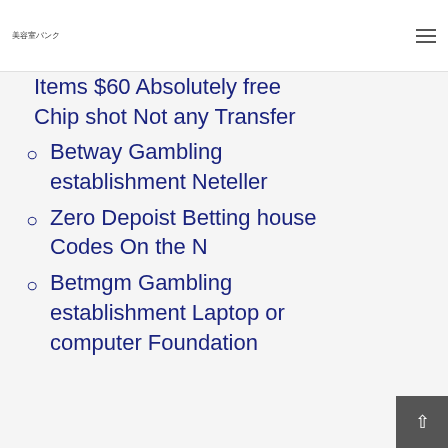美容室バンク
Items $60 Absolutely free Chip shot Not any Transfer
Betway Gambling establishment Neteller
Zero Depoist Betting house Codes On the N
Betmgm Gambling establishment Laptop or computer Foundation